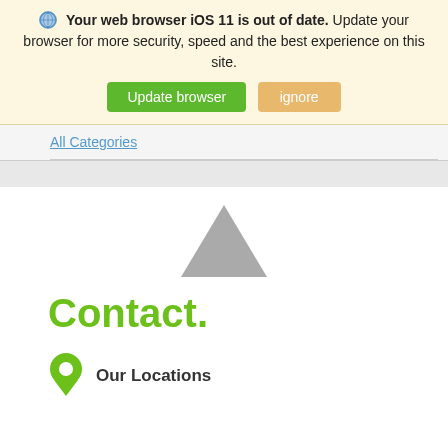Your web browser iOS 11 is out of date. Update your browser for more security, speed and the best experience on this site.
Update browser  ignore
All Categories
[Figure (illustration): Gray upward-pointing triangle map marker placeholder icon]
Contact.
[Figure (illustration): Green location pin icon]
Our Locations